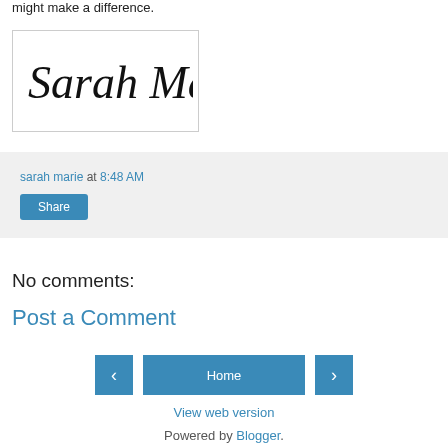might make a difference.
[Figure (illustration): Handwritten cursive signature reading 'Sarah Marie' in a bordered box]
sarah marie at 8:48 AM
Share
No comments:
Post a Comment
Home
View web version
Powered by Blogger.